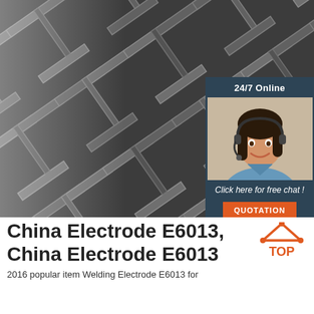[Figure (photo): Steel H-beam structural members stacked diagonally, black and white industrial photo with a customer service chat widget overlay showing a woman with headset, '24/7 Online' text, 'Click here for free chat!' text, and an orange 'QUOTATION' button]
China Electrode E6013, China Electrode E6013
2016 popular item Welding Electrode E6013 for